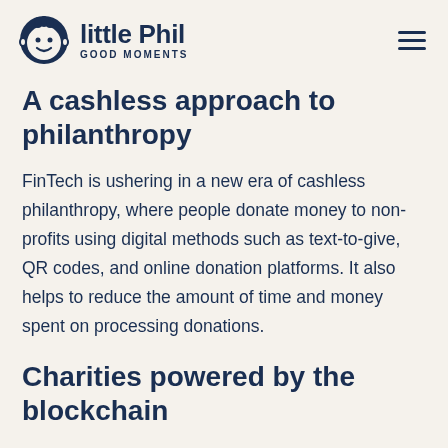little Phil GOOD MOMENTS
A cashless approach to philanthropy
FinTech is ushering in a new era of cashless philanthropy, where people donate money to non-profits using digital methods such as text-to-give, QR codes, and online donation platforms. It also helps to reduce the amount of time and money spent on processing donations.
Charities powered by the blockchain